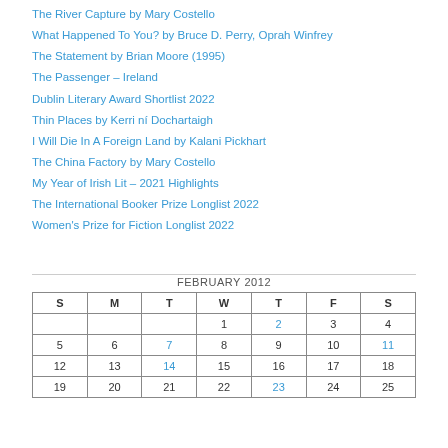The River Capture by Mary Costello
What Happened To You? by Bruce D. Perry, Oprah Winfrey
The Statement by Brian Moore (1995)
The Passenger – Ireland
Dublin Literary Award Shortlist 2022
Thin Places by Kerri ní Dochartaigh
I Will Die In A Foreign Land by Kalani Pickhart
The China Factory by Mary Costello
My Year of Irish Lit – 2021 Highlights
The International Booker Prize Longlist 2022
Women's Prize for Fiction Longlist 2022
| S | M | T | W | T | F | S |
| --- | --- | --- | --- | --- | --- | --- |
|  |  |  | 1 | 2 | 3 | 4 |
| 5 | 6 | 7 | 8 | 9 | 10 | 11 |
| 12 | 13 | 14 | 15 | 16 | 17 | 18 |
| 19 | 20 | 21 | 22 | 23 | 24 | 25 |